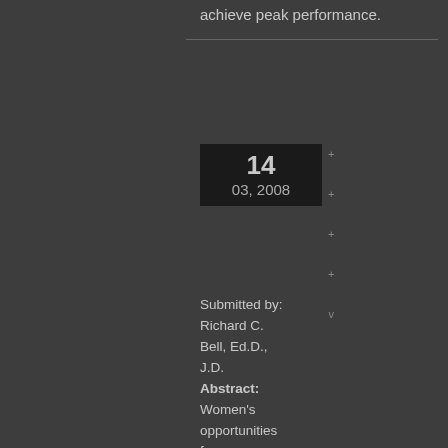achieve peak performance.
14
03, 2008
Submitted by: Richard C. Bell, Ed.D., J.D.
Abstract: Women's opportunities for competitive physical